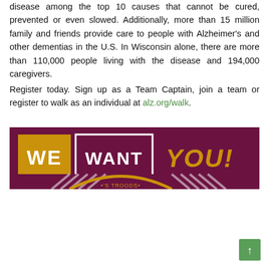disease among the top 10 causes that cannot be cured, prevented or even slowed. Additionally, more than 15 million family and friends provide care to people with Alzheimer's and other dementias in the U.S. In Wisconsin alone, there are more than 110,000 people living with the disease and 194,000 caregivers.
Register today. Sign up as a Team Captain, join a team or register to walk as an individual at alz.org/walk.
[Figure (illustration): Promotional banner with dark maroon background reading 'WE WANT YOU!' in large bold text. 'WE' is on a gold/yellow box, 'WANT' is in a maroon box with white border, 'YOU!' is in large gold italic text. Bottom portion shows a partial logo and diagonal stripe pattern.]